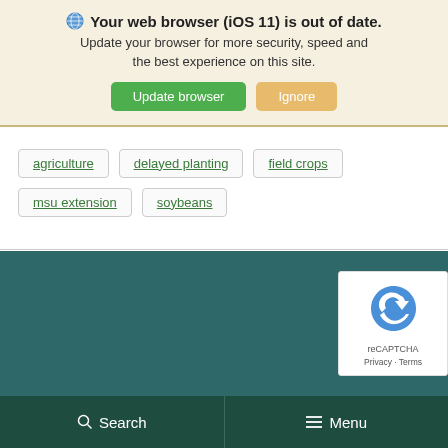Your web browser (iOS 11) is out of date. Update your browser for more security, speed and the best experience on this site. Update browser | Ignore
agriculture
delayed planting
field crops
msu extension
soybeans
[Figure (screenshot): Dark teal footer section of a website]
Search  Menu